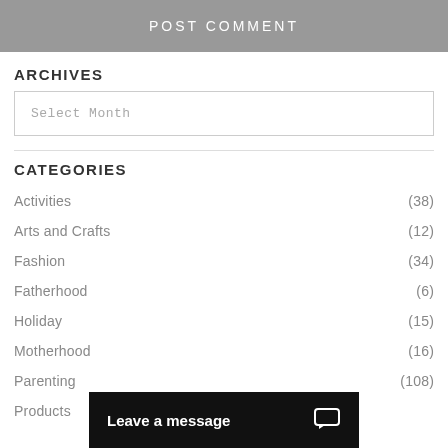POST COMMENT
ARCHIVES
Select Month
CATEGORIES
Activities (38)
Arts and Crafts (12)
Fashion (34)
Fatherhood (6)
Holiday (15)
Motherhood (16)
Parenting (108)
Products
Leave a message